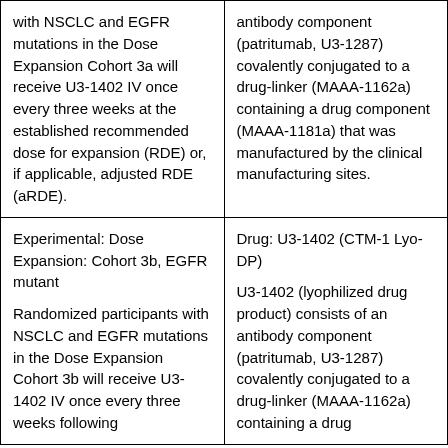| with NSCLC and EGFR mutations in the Dose Expansion Cohort 3a will receive U3-1402 IV once every three weeks at the established recommended dose for expansion (RDE) or, if applicable, adjusted RDE (aRDE). | antibody component (patritumab, U3-1287) covalently conjugated to a drug-linker (MAAA-1162a) containing a drug component (MAAA-1181a) that was manufactured by the clinical manufacturing sites. |
| Experimental: Dose Expansion: Cohort 3b, EGFR mutant
Randomized participants with NSCLC and EGFR mutations in the Dose Expansion Cohort 3b will receive U3-1402 IV once every three weeks following | Drug: U3-1402 (CTM-1 Lyo-DP)
U3-1402 (lyophilized drug product) consists of an antibody component (patritumab, U3-1287) covalently conjugated to a drug-linker (MAAA-1162a) containing a drug |